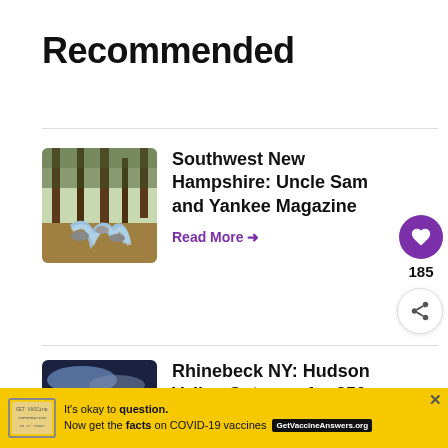Recommended
[Figure (photo): Forest trail with stream running between trees and rocks]
Southwest New Hampshire: Uncle Sam and Yankee Magazine
Read More →
[Figure (photo): Lake or river at dusk with lights reflecting on water, deck railing in foreground]
Rhinebeck NY: Hudson Valley Getaway for 250 Years
Read More →
185
WHAT'S NEXT → Windjammer Sailing...
[Figure (infographic): Yellow COVID-19 vaccine information advertisement banner: It's okay to question. Now get the facts on COVID-19 vaccines. GetVaccineAnswers.org]